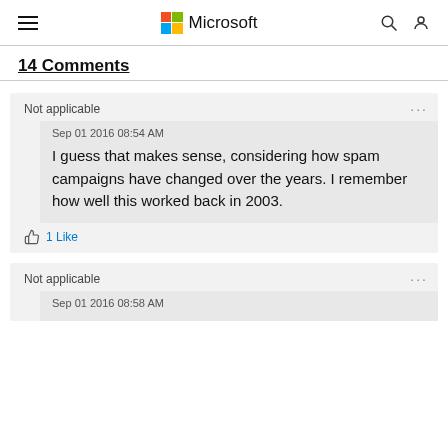Microsoft
14 Comments
Not applicable
Sep 01 2016 08:54 AM
I guess that makes sense, considering how spam campaigns have changed over the years. I remember how well this worked back in 2003.
1 Like
Not applicable
Sep 01 2016 08:58 AM